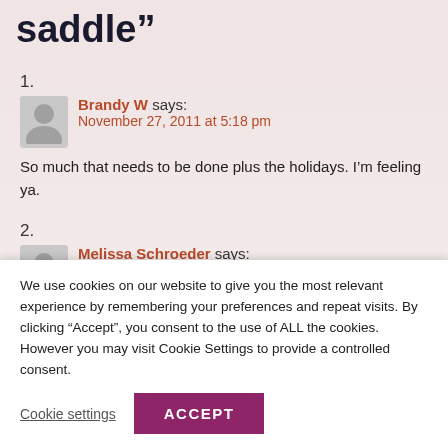saddle”
1. Brandy W says: November 27, 2011 at 5:18 pm — So much that needs to be done plus the holidays. I’m feeling ya.
2. Melissa Schroeder says: November 27, 2011 at 11:25 pm — But I tackled a lot today. Gift is done, and I am going to finish up sending updates to Kendra in just a few minutes. Tomorrow I am home all day. Calling...
We use cookies on our website to give you the most relevant experience by remembering your preferences and repeat visits. By clicking “Accept”, you consent to the use of ALL the cookies. However you may visit Cookie Settings to provide a controlled consent.
Cookie settings   ACCEPT